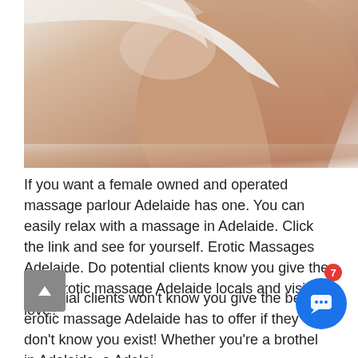[Figure (photo): Close-up photo of a person in a white shirt/towel, showing bare skin, soft lighting with neutral background]
If you want a female owned and operated massage parlour Adelaide has one. You can easily relax with a massage in Adelaide. Click the link and see for yourself. Erotic Massages Adelaide. Do potential clients know you give the best erotic massage Adelaide locals and visitors love?
Potential clients won't know you give the best erotic massage Adelaide has to offer if they don't know you exist! Whether you're a brothel in Adelaide, a Adelaide erotic massage parlour, an Asian brothel in Adelaide, we